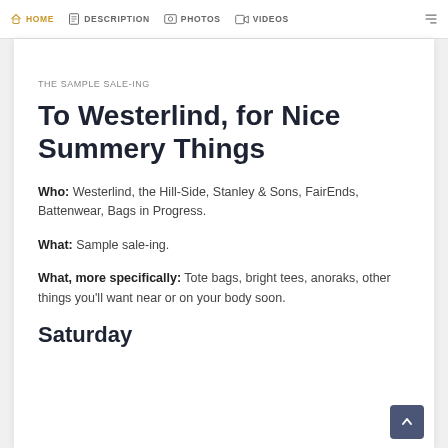HOME  DESCRIPTION  PHOTOS  VIDEOS
THE SAMPLE SALE-ING
To Westerlind, for Nice Summery Things
Who: Westerlind, the Hill-Side, Stanley & Sons, FairEnds, Battenwear, Bags in Progress.
What: Sample sale-ing.
What, more specifically: Tote bags, bright tees, anoraks, other things you'll want near or on your body soon.
Saturday